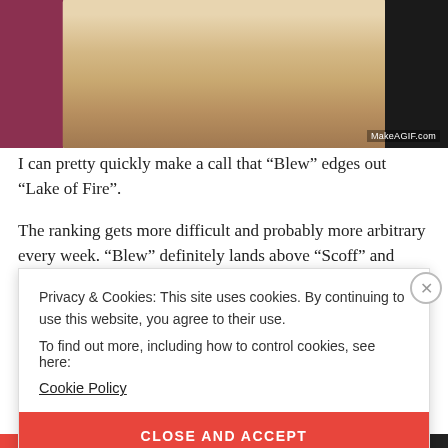[Figure (photo): A person with blonde hair wearing a fuzzy/furry beige jacket and white top, performing or speaking, with a red/purple backdrop on the left and dark background on the right. Watermark reads MakeAGIF.com in the bottom right corner.]
I can pretty quickly make a call that “Blew” edges out “Lake of Fire”.
The ranking gets more difficult and probably more arbitrary every week. “Blew” definitely lands above “Scoff” and “Swap
Privacy & Cookies: This site uses cookies. By continuing to use this website, you agree to their use.
To find out more, including how to control cookies, see here:
Cookie Policy
CLOSE AND ACCEPT